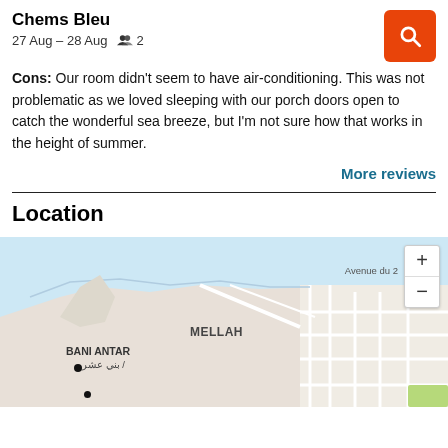Chems Bleu
27 Aug – 28 Aug  👥 2
Cons: Our room didn't seem to have air-conditioning. This was not problematic as we loved sleeping with our porch doors open to catch the wonderful sea breeze, but I'm not sure how that works in the height of summer.
More reviews
Location
[Figure (map): Map showing Bani Antar and Mellah neighborhoods with street layout and Avenue du 2 label visible]